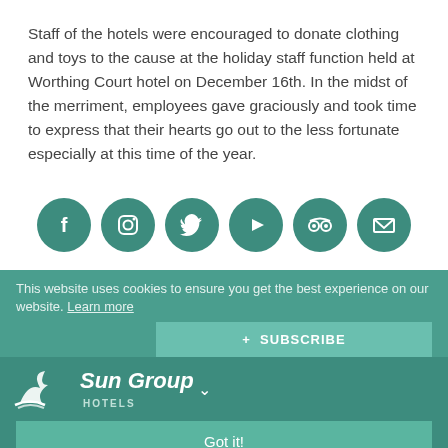Staff of the hotels were encouraged to donate clothing and toys to the cause at the holiday staff function held at Worthing Court hotel on December 16th. In the midst of the merriment, employees gave graciously and took time to express that their hearts go out to the less fortunate especially at this time of the year.
[Figure (infographic): Six social media icons in teal/green circular buttons: Facebook (f), Instagram (camera), Twitter (bird), YouTube (play), TripAdvisor (owl), Email (envelope)]
This website uses cookies to ensure you get the best experience on our website. Learn more
+ SUBSCRIBE
[Figure (logo): Sun Group Hotels logo with stylized bird/sun and italic text]
Got it!
Contact Us
Worthing Court Apartment Hotel